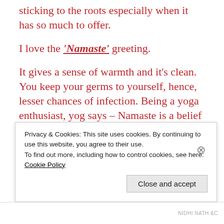sticking to the roots especially when it has so much to offer.
I love the 'Namaste' greeting.
It gives a sense of warmth and it's clean. You keep your germs to yourself, hence, lesser chances of infection. Being a yoga enthusiast, yog says – Namaste is a belief that there is a an eternal spark within each one of us located in our heart chakra, which is why hands must be placed close to that position. It allows 2
Privacy & Cookies: This site uses cookies. By continuing to use this website, you agree to their use. To find out more, including how to control cookies, see here: Cookie Policy